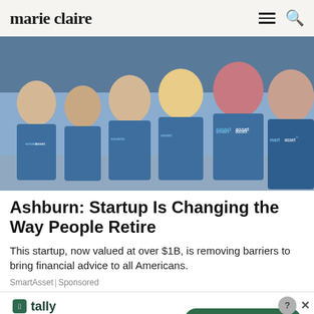marie claire
[Figure (photo): Group of people wearing SmartAsset branded blue t-shirts, posing together outdoors]
Ashburn: Startup Is Changing the Way People Retire
This startup, now valued at over $1B, is removing barriers to bring financial advice to all Americans.
SmartAsset | Sponsored
[Figure (infographic): Tally app advertisement: Fast credit card payoff with Download Now button]